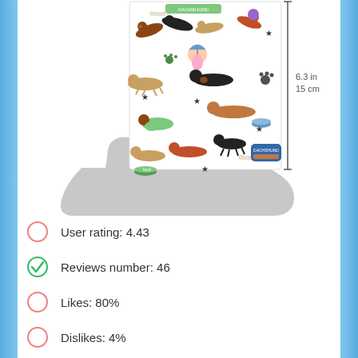[Figure (photo): A hand holding a sticker sheet filled with dachshund dog illustrations. A measurement annotation shows 6.3 in / 15 cm height with a vertical arrow line on the right side.]
User rating: 4.43
Reviews number: 46
Likes: 80%
Dislikes: 4%
Suspicious reviews: 6%